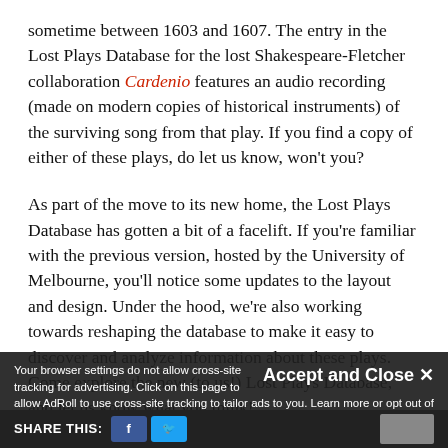sometime between 1603 and 1607. The entry in the Lost Plays Database for the lost Shakespeare-Fletcher collaboration Cardenio features an audio recording (made on modern copies of historical instruments) of the surviving song from that play. If you find a copy of either of these plays, do let us know, won't you?
As part of the move to its new home, the Lost Plays Database has gotten a bit of a facelift. If you're familiar with the previous version, hosted by the University of Melbourne, you'll notice some updates to the layout and design. Under the hood, we're also working towards reshaping the database to make it easy to discover and analyze information about these plays. Come explore the new (to us!) Lost Plays Database, and let us know what you think!
Accept and Close ✕ Your browser settings do not allow cross-site tracking for advertising. Click on this page to allow AdRoll to use cross-site tracking to tailor ads to you. Learn more or opt out of this AdRoll tracking by clicking here. This message only appears once.
SHARE THIS: